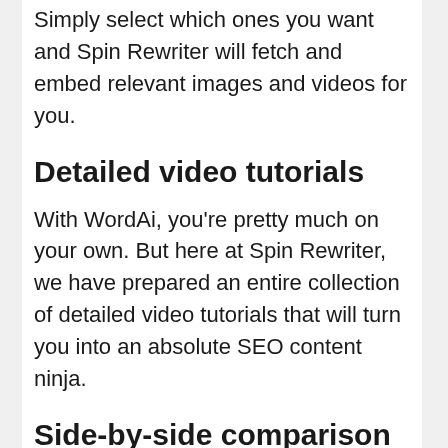Simply select which ones you want and Spin Rewriter will fetch and embed relevant images and videos for you.
Detailed video tutorials
With WordAi, you’re pretty much on your own. But here at Spin Rewriter, we have prepared an entire collection of detailed video tutorials that will turn you into an absolute SEO content ninja.
Side-by-side comparison
Unlike WordAi, Spin Rewriter lets you easily compare your original article with your